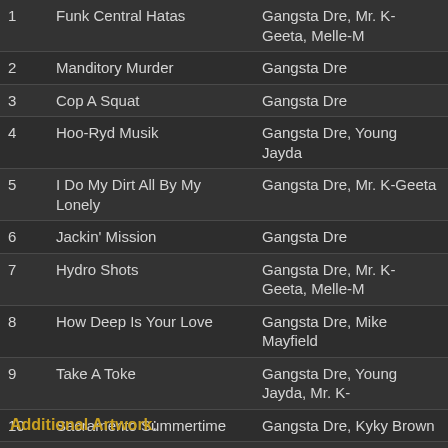| # | Title | Artists |
| --- | --- | --- |
| 1 | Funk Central Hatas | Gangsta Dre, Mr. K-Geeta, Melle-M… |
| 2 | Manditory Murder | Gangsta Dre |
| 3 | Cop A Squat | Gangsta Dre |
| 4 | Hoo-Ryd Musik | Gangsta Dre, Young Jayda |
| 5 | I Do My Dirt All By My Lonely | Gangsta Dre, Mr. K-Geeta |
| 6 | Jackin' Mission | Gangsta Dre |
| 7 | Hydro Shots | Gangsta Dre, Mr. K-Geeta, Melle-M… |
| 8 | How Deep Is Your Love | Gangsta Dre, Mike Mayfield |
| 9 | Take A Toke | Gangsta Dre, Young Jayda, Mr. K-… |
| 10 | Sacramento Summertime | Gangsta Dre, Kyky Brown |
| 11 | Main Motto | Gangsta Dre, Mr. K-Geeta |
| 12 | Anykind Of Hustle | Gangsta Dre |
| 13 | Gang Banging Poetry | Gangsta Dre, Kyky Brown |
| 14 | Survival On The Battlefield | Gangsta Dre, Melle-Mel, Low G, G… Geeta |
Additional Artwork: